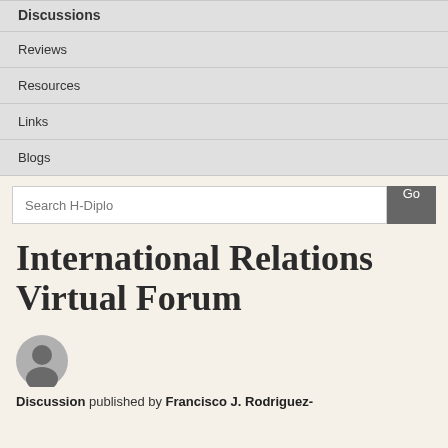Discussions
Reviews
Resources
Links
Blogs
Search H-Diplo  Go
International Relations Virtual Forum
[Figure (illustration): Generic user avatar silhouette in a circular grey badge]
Discussion published by Francisco J. Rodriguez-